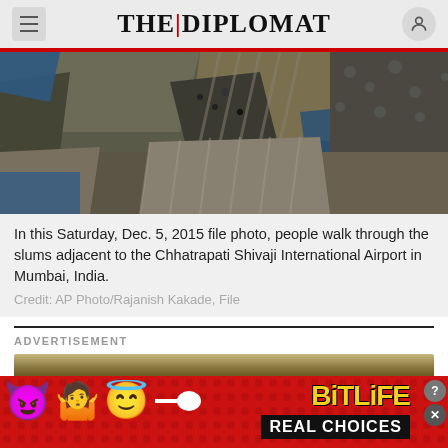THE DIPLOMAT
[Figure (photo): Aerial view of slums with corrugated metal rooftops adjacent to Chhatrapati Shivaji International Airport in Mumbai, India. Photographed on Saturday, Dec. 5, 2015.]
In this Saturday, Dec. 5, 2015 file photo, people walk through the slums adjacent to the Chhatrapati Shivaji International Airport in Mumbai, India.
Credit: AP Photo/Rajanish Kakade, File
ADVERTISEMENT
[Figure (screenshot): Advertisement: BitLife - Real Choices mobile game ad with emoji characters (devil, person shrugging, angel, sperm) on red background with yellow BitLife logo and black Real Choices banner.]